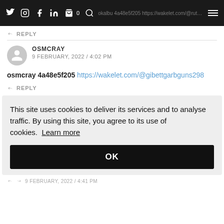okalbu 4a48e5f205 https://wakelet.com/@rutorepodates
REPLY
OSMCRAY
9 FEBRUARY, 2022 / 4:02 PM
osmcray 4a48e5f205 https://wakelet.com/@gibettgarbguns298
REPLY
This site uses cookies to deliver its services and to analyse traffic. By using this site, you agree to its use of cookies. Learn more
OK